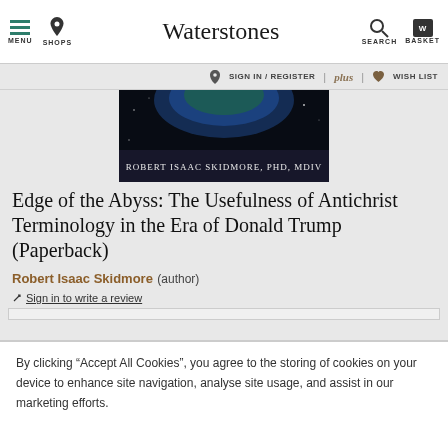Waterstones — MENU | SHOPS | SEARCH | BASKET
SIGN IN / REGISTER | plus | WISH LIST
[Figure (photo): Book cover image for 'Edge of the Abyss' with dark background showing earth from space and text 'ROBERT ISAAC SKIDMORE, PHD, MDIV']
Edge of the Abyss: The Usefulness of Antichrist Terminology in the Era of Donald Trump (Paperback)
Robert Isaac Skidmore (author)
Sign in to write a review
By clicking “Accept All Cookies”, you agree to the storing of cookies on your device to enhance site navigation, analyse site usage, and assist in our marketing efforts.